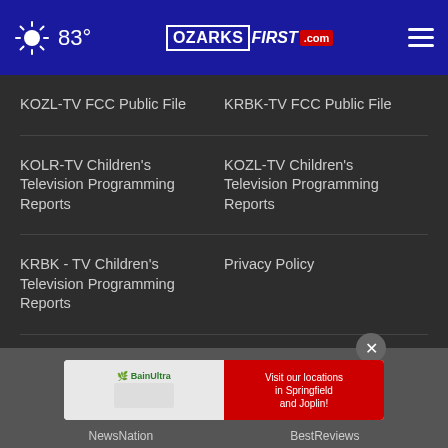83° | OZARKSFIRST.com
KOZL-TV FCC Public File
KRBK-TV FCC Public File
KOLR-TV Children's Television Programming Reports
KOZL-TV Children's Television Programming Reports
KRBK - TV Children's Television Programming Reports
Privacy Policy
Terms Of Use
Do Not Sell My Personal Information
FCC Applications
Public File Assistance Contact
[Figure (screenshot): BainUltra advertisement banner with bath image and a circular logo promoting store locations in Springfield and Joplin]
NewsNation | BestReviews